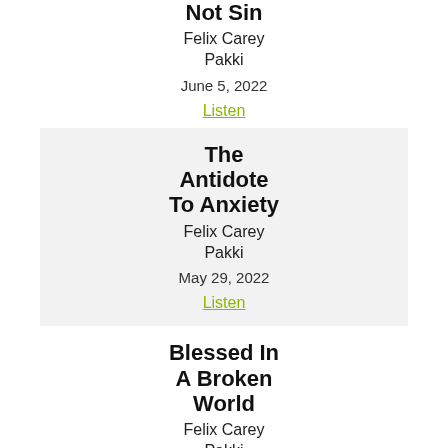Not Sin
Felix Carey Pakki
June 5, 2022
Listen
The Antidote To Anxiety
Felix Carey Pakki
May 29, 2022
Listen
Blessed In A Broken World
Felix Carey Pakki
May 15, 2022
Listen
MORE »